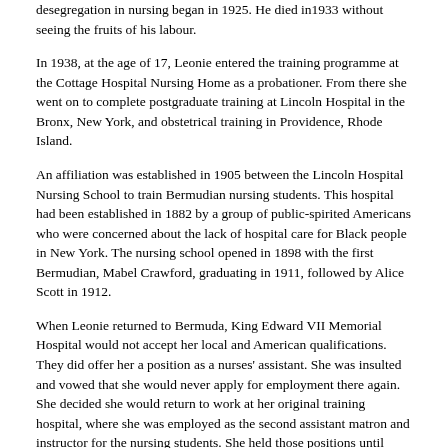desegregation in nursing began in 1925. He died in1933 without seeing the fruits of his labour.
In 1938, at the age of 17, Leonie entered the training programme at the Cottage Hospital Nursing Home as a probationer. From there she went on to complete postgraduate training at Lincoln Hospital in the Bronx, New York, and obstetrical training in Providence, Rhode Island.
An affiliation was established in 1905 between the Lincoln Hospital Nursing School to train Bermudian nursing students. This hospital had been established in 1882 by a group of public-spirited Americans who were concerned about the lack of hospital care for Black people in New York. The nursing school opened in 1898 with the first Bermudian, Mabel Crawford, graduating in 1911, followed by Alice Scott in 1912.
When Leonie returned to Bermuda, King Edward VII Memorial Hospital would not accept her local and American qualifications. They did offer her a position as a nurses' assistant. She was insulted and vowed that she would never apply for employment there again. She decided she would return to work at her original training hospital, where she was employed as the second assistant matron and instructor for the nursing students. She held those positions until 1956 when The Cottage Hospital Nursing Home closed its doors for good.